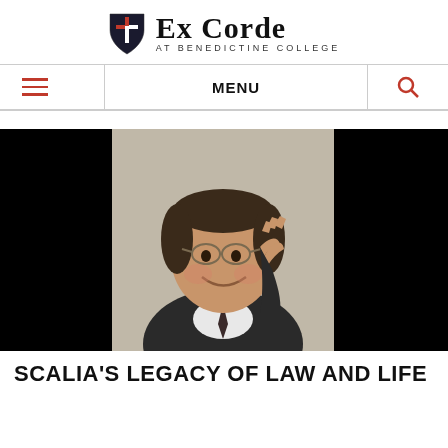Ex Corde AT BENEDICTINE COLLEGE
≡  MENU  🔍
[Figure (photo): Portrait photograph of Antonin Scalia, smiling and raising his hand near his temple, wearing glasses and a dark suit, against a neutral background. Image has black panels on left and right sides.]
SCALIA'S LEGACY OF LAW AND LIFE